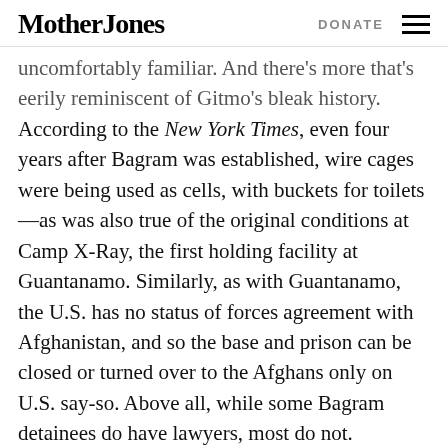Mother Jones | DONATE
uncomfortably familiar. And there's more that's eerily reminiscent of Gitmo's bleak history. According to the New York Times, even four years after Bagram was established, wire cages were being used as cells, with buckets for toilets—as was also true of the original conditions at Camp X-Ray, the first holding facility at Guantanamo. Similarly, as with Guantanamo, the U.S. has no status of forces agreement with Afghanistan, and so the base and prison can be closed or turned over to the Afghans only on U.S. say-so. Above all, while some Bagram detainees do have lawyers, most do not.
The Prison Where It All Began
While Bagram detainees do not...